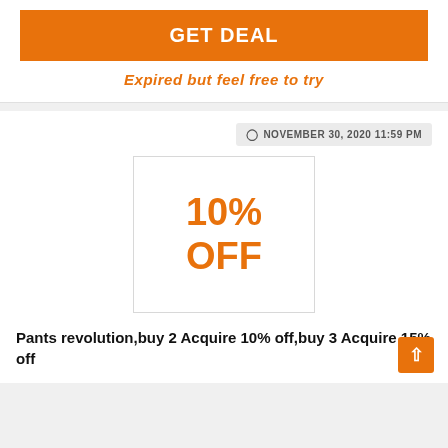GET DEAL
Expired but feel free to try
NOVEMBER 30, 2020 11:59 PM
[Figure (other): Discount badge showing 10% OFF in orange text on white box with border]
Pants revolution,buy 2 Acquire 10% off,buy 3 Acquire 15% off